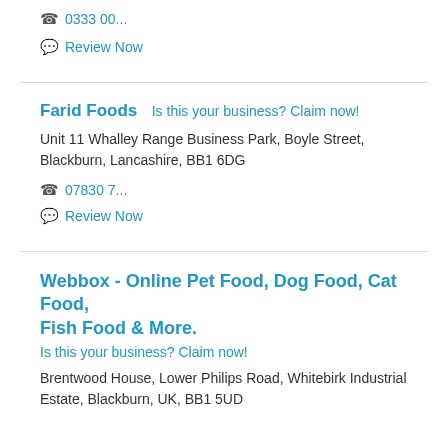📞 0333 00...
💬 Review Now
Farid Foods
Is this your business? Claim now!
Unit 11 Whalley Range Business Park, Boyle Street, Blackburn, Lancashire, BB1 6DG
📞 07830 7...
💬 Review Now
Webbox - Online Pet Food, Dog Food, Cat Food, Fish Food & More.
Is this your business? Claim now!
Brentwood House, Lower Philips Road, Whitebirk Industrial Estate, Blackburn, UK, BB1 5UD